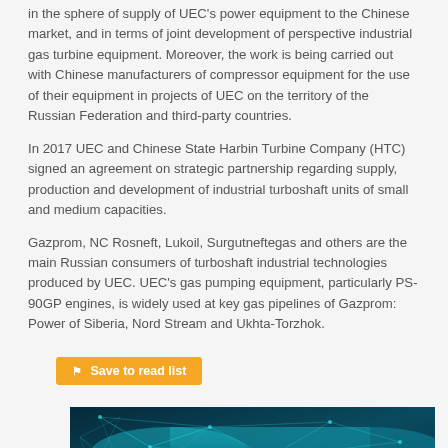in the sphere of supply of UEC's power equipment to the Chinese market, and in terms of joint development of perspective industrial gas turbine equipment. Moreover, the work is being carried out with Chinese manufacturers of compressor equipment for the use of their equipment in projects of UEC on the territory of the Russian Federation and third-party countries.
In 2017 UEC and Chinese State Harbin Turbine Company (HTC) signed an agreement on strategic partnership regarding supply, production and development of industrial turboshaft units of small and medium capacities.
Gazprom, NC Rosneft, Lukoil, Surgutneftegas and others are the main Russian consumers of turboshaft industrial technologies produced by UEC. UEC's gas pumping equipment, particularly PS-90GP engines, is widely used at key gas pipelines of Gazprom: Power of Siberia, Nord Stream and Ukhta-Torzhok.
[Figure (illustration): Dark teal/blue background image showing industrial pipeline or turbine equipment rendered with a digital/network mesh overlay effect]
Save to read list